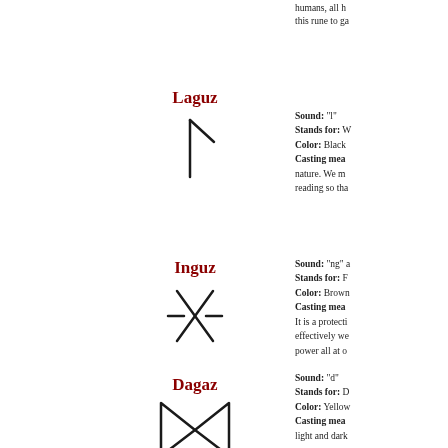humans, all h... this rune to ga...
Laguz
[Figure (illustration): Laguz rune symbol: a vertical line with a diagonal line going upper-right from its top]
Sound: "l"
Stands for: W...
Color: Black
Casting mea... nature. We m... reading so tha...
Inguz
[Figure (illustration): Inguz rune symbol: two crossing diagonal lines forming an X shape with horizontal pinch points at left and right]
Sound: "ng" a...
Stands for: F...
Color: Brown...
Casting mea... It is a protecti... effectively we... power all at o...
Dagaz
[Figure (illustration): Dagaz rune symbol: two triangles pointing inward, meeting at the center, like a bowtie with rectangular outer points]
Sound: "d"
Stands for: D...
Color: Yellow...
Casting mea... light and dark...